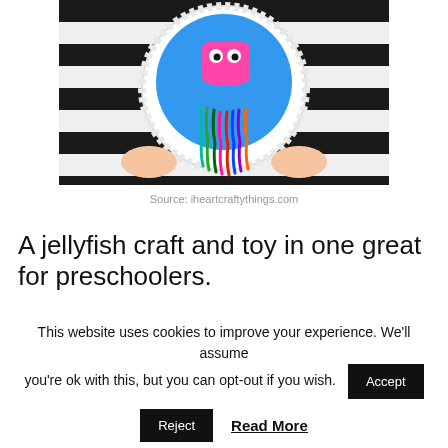[Figure (photo): A paper plate jellyfish craft being held by two hands. The plate has a blue painted circle, a pink jellyfish body with googly eyes, and colorful pipe cleaner tentacles (red, pink, green, blue, purple). Background is black and white stripes.]
Source: iheartcraftythings.com
A jellyfish craft and toy in one great for preschoolers.
This website uses cookies to improve your experience. We'll assume you're ok with this, but you can opt-out if you wish.